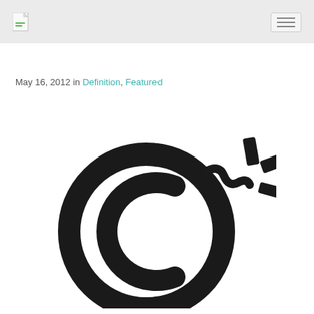[Figure (screenshot): Website header bar with a small logo icon on the left and a hamburger menu button on the right, on a light gray background.]
May 16, 2012 in Definition, Featured
[Figure (illustration): Copyright symbol (©) styled as a bomb with a lit fuse and spark marks, rendered in black on white background.]